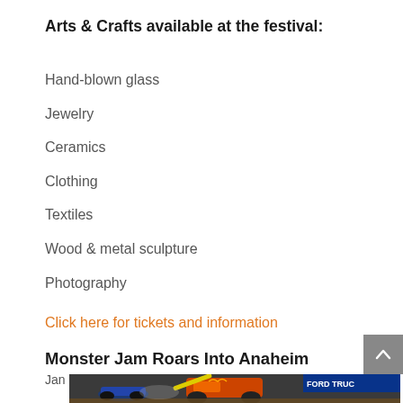Arts & Crafts available at the festival:
Hand-blown glass
Jewelry
Ceramics
Clothing
Textiles
Wood & metal sculpture
Photography
Click here for tickets and information
Monster Jam Roars Into Anaheim
Jan 20, 2017 | Local Events
[Figure (photo): Monster trucks at an arena event, showing a crushed vehicle and orange monster truck, with Ford Trucks signage in background]